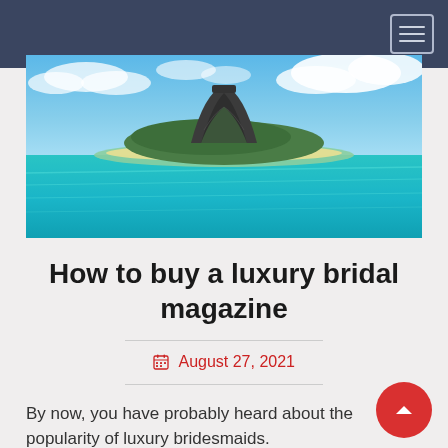Navigation bar with hamburger menu
[Figure (photo): Aerial panoramic view of a tropical island with a large rock formation (Le Morne Brabant, Mauritius), surrounded by turquoise lagoon waters and white sandy beach, with blue sky and white clouds above.]
How to buy a luxury bridal magazine
August 27, 2021
By now, you have probably heard about the popularity of luxury bridesmaids.